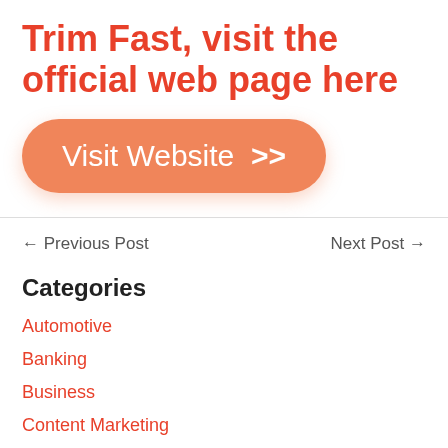Trim Fast, visit the official web page here
[Figure (other): Orange rounded button with text 'Visit Website >>']
← Previous Post    Next Post →
Categories
Automotive
Banking
Business
Content Marketing